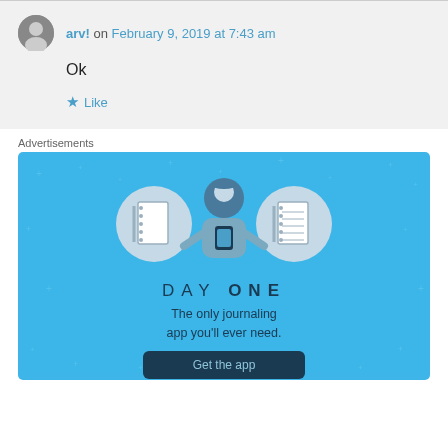arv! on February 9, 2019 at 7:43 am
Ok
Like
Advertisements
[Figure (illustration): Day One journaling app advertisement. Blue background with sparkle star decorations. Three circular icons at top showing a blank notebook, a person holding a phone, and a lined notebook. Text reads DAY ONE, The only journaling app you'll ever need. A dark blue Get the app button at the bottom.]